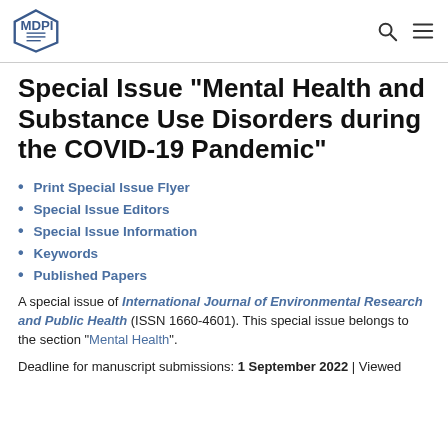MDPI
Special Issue "Mental Health and Substance Use Disorders during the COVID-19 Pandemic"
Print Special Issue Flyer
Special Issue Editors
Special Issue Information
Keywords
Published Papers
A special issue of International Journal of Environmental Research and Public Health (ISSN 1660-4601). This special issue belongs to the section "Mental Health".
Deadline for manuscript submissions: 1 September 2022 | Viewed